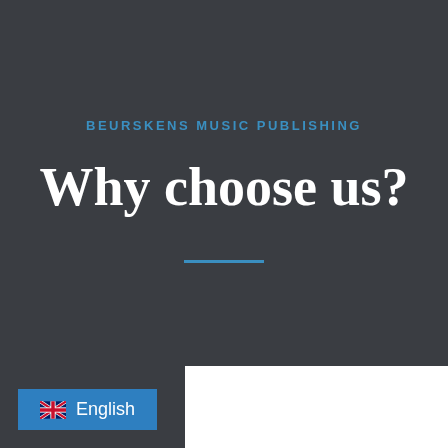BEURSKENS MUSIC PUBLISHING
Why choose us?
[Figure (other): Horizontal blue divider line]
English